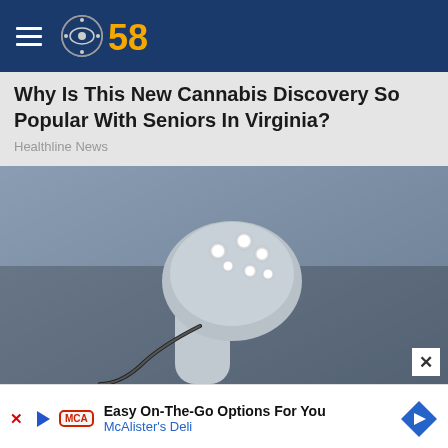CBS 58
Why Is This New Cannabis Discovery So Popular With Seniors In Virginia?
Healthline News
[Figure (photo): Close-up photo of a device with LED lights on a flexible arm, possibly a medical or beauty device with glowing white LED bulbs]
Easy On-The-Go Options For You
McAlister's Deli